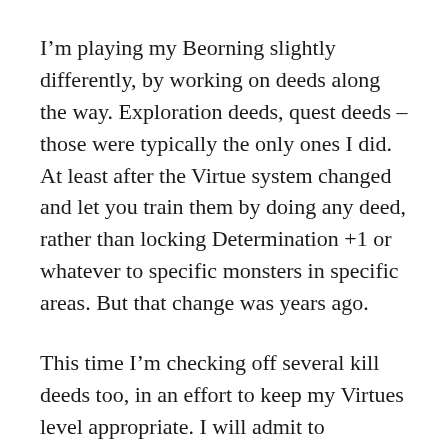I'm playing my Beorning slightly differently, by working on deeds along the way. Exploration deeds, quest deeds – those were typically the only ones I did. At least after the Virtue system changed and let you train them by doing any deed, rather than locking Determination +1 or whatever to specific monsters in specific areas. But that change was years ago.
This time I'm checking off several kill deeds too, in an effort to keep my Virtues level appropriate. I will admit to purchasing some accelerator scrolls which do help by cutting the number of kills needed in half.
I decided the most appropriate crafting for a